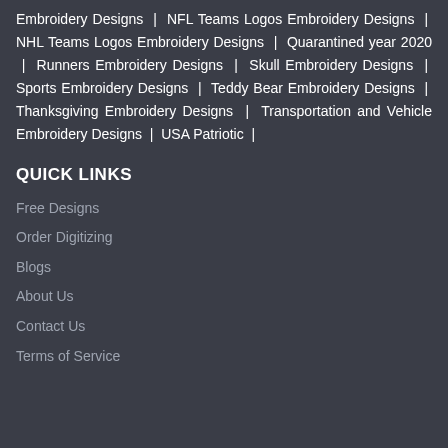Embroidery Designs | NFL Teams Logos Embroidery Designs | NHL Teams Logos Embroidery Designs | Quarantined year 2020 | Runners Embroidery Designs | Skull Embroidery Designs | Sports Embroidery Designs | Teddy Bear Embroidery Designs | Thanksgiving Embroidery Designs | Transportation and Vehicle Embroidery Designs | USA Patriotic |
QUICK LINKS
Free Designs
Order Digitizing
Blogs
About Us
Contact Us
Terms of Service